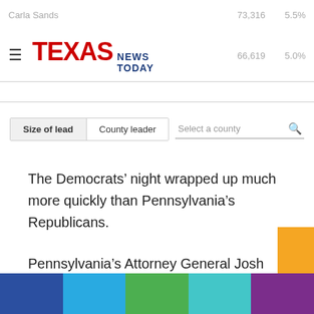Carla Sands   73,316   5.5%   66,619   5.0%
[Figure (logo): Texas News Today logo with hamburger menu icon]
Size of lead   County leader   Select a county
The Democrats’ night wrapped up much more quickly than Pennsylvania’s Republicans.
Pennsylvania’s Attorney General Josh Shapiro, running unopposed for the Democratic nomination for governor, was called the winner of his race as soon as polls closed.
Shapiro, recovering from COVID-19, tweeted that he was